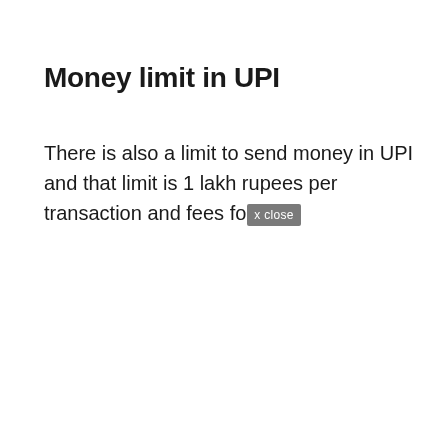Money limit in UPI
There is also a limit to send money in UPI and that limit is 1 lakh rupees per transaction and fees fo‹x close›